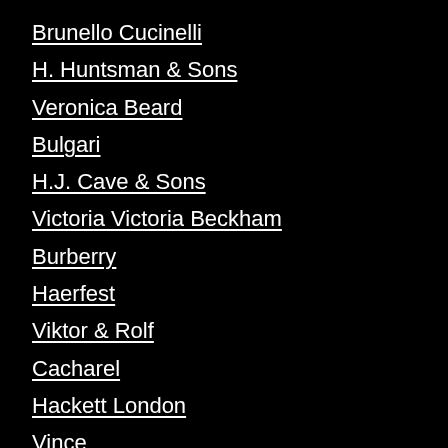Brunello Cucinelli
H. Huntsman & Sons
Veronica Beard
Bulgari
H.J. Cave & Sons
Victoria Victoria Beckham
Burberry
Haerfest
Viktor & Rolf
Cacharel
Hackett London
Vince
Cartier